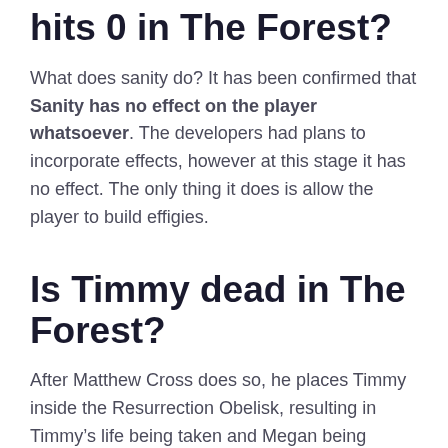hits 0 in The Forest?
What does sanity do? It has been confirmed that Sanity has no effect on the player whatsoever. The developers had plans to incorporate effects, however at this stage it has no effect. The only thing it does is allow the player to build effigies.
Is Timmy dead in The Forest?
After Matthew Cross does so, he places Timmy inside the Resurrection Obelisk, resulting in Timmy’s life being taken and Megan being resurrected. He is left inside the machine afterwards. Timmy’s body is later found by his father, Eric, who is emotionally